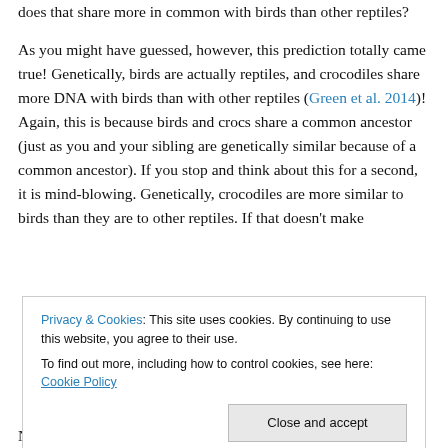does that share more in common with birds than other reptiles?
As you might have guessed, however, this prediction totally came true! Genetically, birds are actually reptiles, and crocodiles share more DNA with birds than with other reptiles (Green et al. 2014)! Again, this is because birds and crocs share a common ancestor (just as you and your sibling are genetically similar because of a common ancestor). If you stop and think about this for a second, it is mind-blowing. Genetically, crocodiles are more similar to birds than they are to other reptiles. If that doesn't make
Privacy & Cookies: This site uses cookies. By continuing to use this website, you agree to their use.
To find out more, including how to control cookies, see here: Cookie Policy
[Close and accept]
Note: Technically, Green et al. 2014 also discusses...